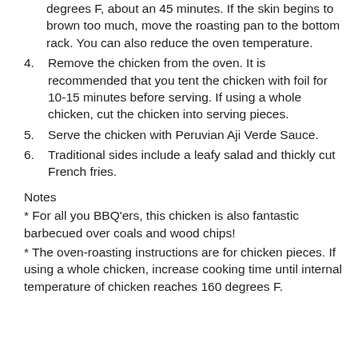(continuation) degrees F, about an 45 minutes. If the skin begins to brown too much, move the roasting pan to the bottom rack. You can also reduce the oven temperature.
4. Remove the chicken from the oven. It is recommended that you tent the chicken with foil for 10-15 minutes before serving. If using a whole chicken, cut the chicken into serving pieces.
5. Serve the chicken with Peruvian Aji Verde Sauce.
6. Traditional sides include a leafy salad and thickly cut French fries.
Notes
* For all you BBQ'ers, this chicken is also fantastic barbecued over coals and wood chips!
* The oven-roasting instructions are for chicken pieces. If using a whole chicken, increase cooking time until internal temperature of chicken reaches 160 degrees F.